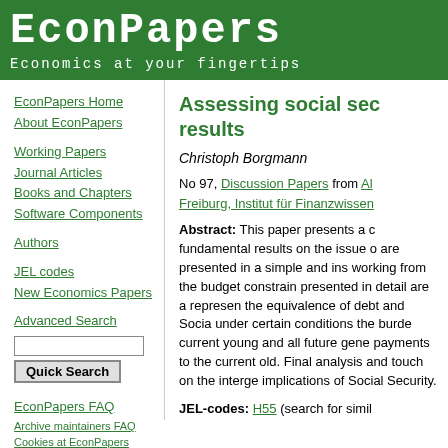EconPapers
Economics at your fingertips
EconPapers Home
About EconPapers
Working Papers
Journal Articles
Books and Chapters
Software Components
Authors
JEL codes
New Economics Papers
Advanced Search
EconPapers FAQ
Archive maintainers FAQ
Cookies at EconPapers
Format for printing
Assessing social sec results
Christoph Borgmann
No 97, Discussion Papers from Al Freiburg, Institut für Finanzwissen
Abstract: This paper presents a fundamental results on the issue are presented in a simple and ins working from the budget constrain presented in detail are a represen the equivalence of debt and Social under certain conditions the burde current young and all future gene payments to the current old. Final analysis and touch on the interge implications of Social Security.
JEL-codes: H55 (search for simil
Date: 2001